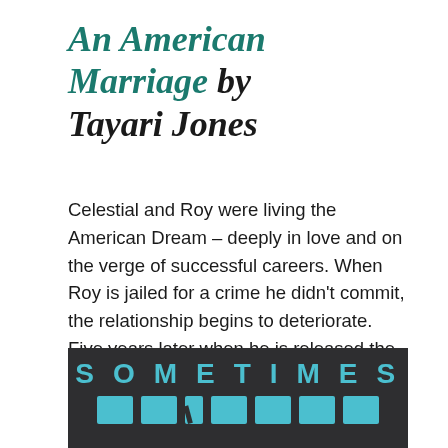An American Marriage by Tayari Jones
Celestial and Roy were living the American Dream – deeply in love and on the verge of successful careers. When Roy is jailed for a crime he didn't commit, the relationship begins to deteriorate. Five years later when he is released the two must figure out how to reconnect.
[Figure (photo): Book cover image showing dark background with teal/cyan large text reading 'SOMETIMES' and partial letters of a second word below, in the style of the book cover for An American Marriage by Tayari Jones.]